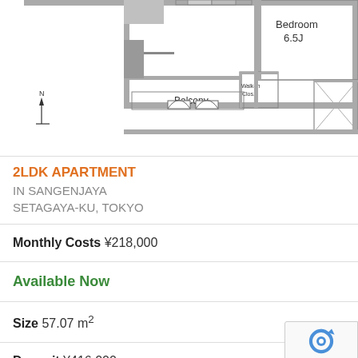[Figure (engineering-diagram): Apartment floor plan showing a 2LDK layout with Bedroom (6.5J), Walk-in Closet, Balcony, and north arrow indicator]
2LDK APARTMENT IN SANGENJAYA SETAGAYA-KU, TOKYO
Monthly Costs ¥218,000
Available Now
Size 57.07 m²
Deposit ¥416,000
Key Money ¥0
Floor 4 / 14F